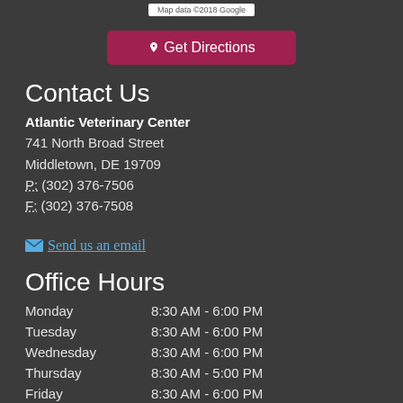[Figure (map): Top strip showing partial Google Maps view with 'Map data ©2018 Google' label]
Get Directions
Contact Us
Atlantic Veterinary Center
741 North Broad Street
Middletown, DE 19709
P: (302) 376-7506
F: (302) 376-7508
✉ Send us an email
Office Hours
| Day | Hours |
| --- | --- |
| Monday | 8:30 AM - 6:00 PM |
| Tuesday | 8:30 AM - 6:00 PM |
| Wednesday | 8:30 AM - 6:00 PM |
| Thursday | 8:30 AM - 5:00 PM |
| Friday | 8:30 AM - 6:00 PM |
©2022 Atlantic Veterinary Center
Website Designed & Hosted by Convey2web